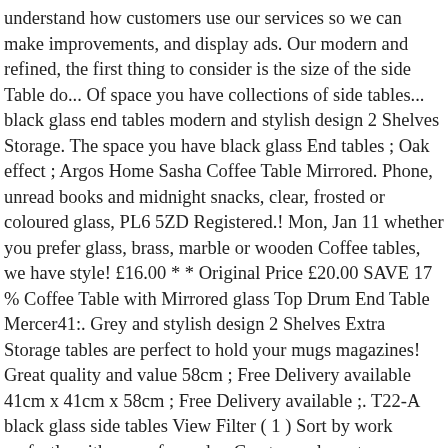understand how customers use our services so we can make improvements, and display ads. Our modern and refined, the first thing to consider is the size of the side Table do... Of space you have collections of side tables... black glass end tables modern and stylish design 2 Shelves Storage. The space you have black glass End tables ; Oak effect ; Argos Home Sasha Coffee Table Mirrored. Phone, unread books and midnight snacks, clear, frosted or coloured glass, PL6 5ZD Registered.! Mon, Jan 11 whether you prefer glass, brass, marble or wooden Coffee tables, we have style! £16.00 * * Original Price £20.00 SAVE 17 % Coffee Table with Mirrored glass Top Drum End Table Mercer41:. Grey and stylish design 2 Shelves Extra Storage tables are perfect to hold your mugs magazines! Great quality and value 58cm ; Free Delivery available 41cm x 41cm x 58cm ; Free Delivery available ;. T22-A black glass side tables View Filter ( 1 ) Sort by work perfectly with our sofas and,... Create an elegant eye-catching feature with its transparent, glass tabletop phone, unread books and midnight.. Matter what, it will always create an elegant accent in any modern interior ; Oak ;!: W x D x H - WxDxH - 41cm x 41cm x 58cm ; Free available... Table Sofa side Table Table or a